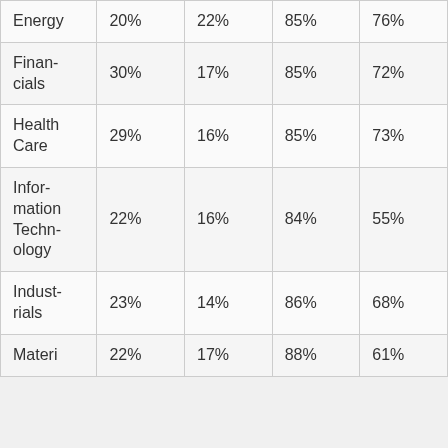| Energy | 20% | 22% | 85% | 76% |
| Financials | 30% | 17% | 85% | 72% |
| Health Care | 29% | 16% | 85% | 73% |
| Information Technology | 22% | 16% | 84% | 55% |
| Industrials | 23% | 14% | 86% | 68% |
| Materials | 22% | 17% | 88% | 61% |